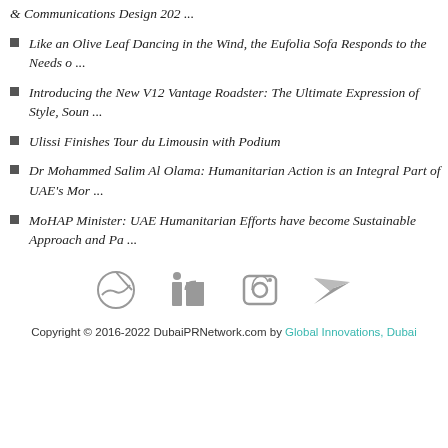& Communications Design 202 ...
Like an Olive Leaf Dancing in the Wind, the Eufolia Sofa Responds to the Needs o ...
Introducing the New V12 Vantage Roadster: The Ultimate Expression of Style, Soun ...
Ulissi Finishes Tour du Limousin with Podium
Dr Mohammed Salim Al Olama: Humanitarian Action is an Integral Part of UAE's Mor ...
MoHAP Minister: UAE Humanitarian Efforts have become Sustainable Approach and Pa ...
[Figure (other): Social media icons row: Dribbble, LinkedIn, Instagram, Twitter]
Copyright © 2016-2022 DubaiPRNetwork.com by Global Innovations, Dubai